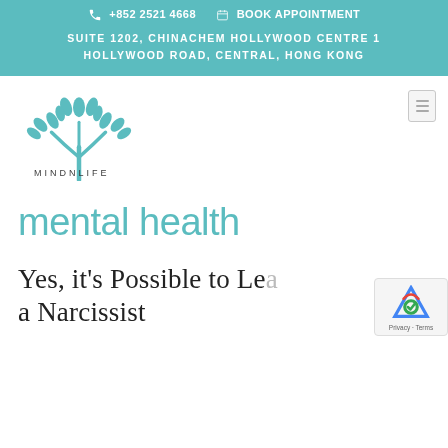+852 2521 4668  BOOK APPOINTMENT
SUITE 1202, CHINACHEM HOLLYWOOD CENTRE 1 HOLLYWOOD ROAD, CENTRAL, HONG KONG
[Figure (logo): MindNLife tree logo with teal leaves and branches, with text MINDNLIFE below]
mental health
Yes, it's Possible to Le... a Narcissist